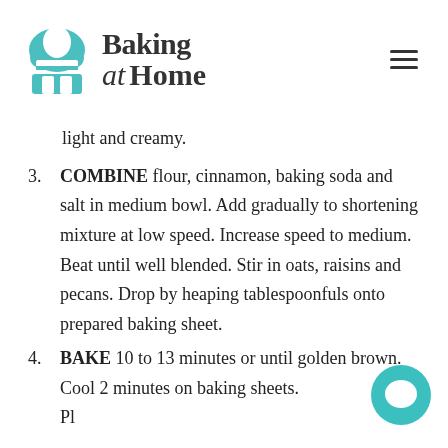Baking at Home
light and creamy.
3. COMBINE flour, cinnamon, baking soda and salt in medium bowl. Add gradually to shortening mixture at low speed. Increase speed to medium. Beat until well blended. Stir in oats, raisins and pecans. Drop by heaping tablespoonfuls onto prepared baking sheet.
4. BAKE 10 to 13 minutes or until golden brown. Cool 2 minutes on baking sheets. Place on cooling racks to cool.